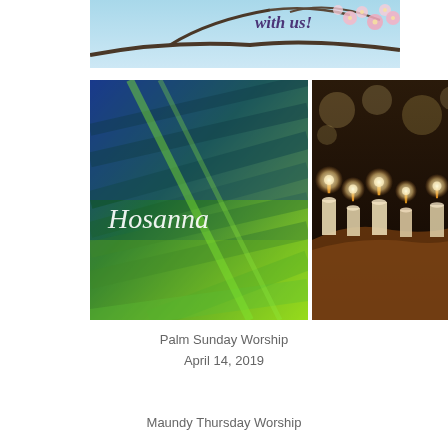[Figure (photo): Top banner: cherry blossoms on branches with 'with us!' text in cursive purple lettering, blue sky background]
[Figure (photo): Left square image: Palm leaf closeup in blue and green tones with 'Hosanna' in white cursive script overlay]
[Figure (photo): Right image: Row of lit candles on a wooden surface in dark warm-toned setting]
Palm Sunday Worship
April 14, 2019
Maundy Thursday Worship